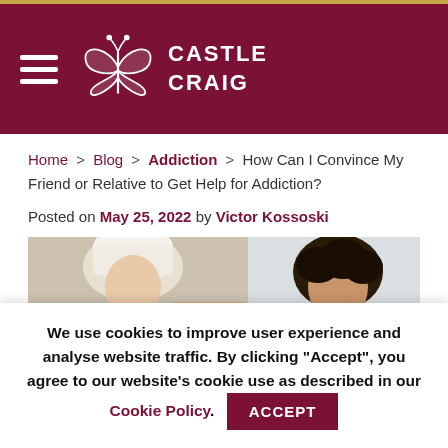Castle Craig — site header with navigation logo
Home > Blog > Addiction > How Can I Convince My Friend or Relative to Get Help for Addiction?
Posted on May 25, 2022 by Victor Kossoski
[Figure (photo): Two people in conversation, one with white hair and one with dark curly hair, blurred background]
We use cookies to improve user experience and analyse website traffic. By clicking "Accept", you agree to our website's cookie use as described in our Cookie Policy.